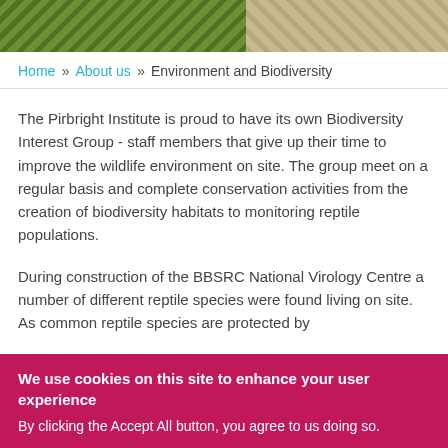[Figure (photo): Outdoor nature photo strip showing greenery on the left and a light-colored subject on the right]
Home » About us » Environment and Biodiversity
The Pirbright Institute is proud to have its own Biodiversity Interest Group - staff members that give up their time to improve the wildlife environment on site. The group meet on a regular basis and complete conservation activities from the creation of biodiversity habitats to monitoring reptile populations.
During construction of the BBSRC National Virology Centre a number of different reptile species were found living on site. As common reptile species are protected by
We use cookies on this site to enhance your user experience
By clicking the Accept All button, you agree to us doing so.